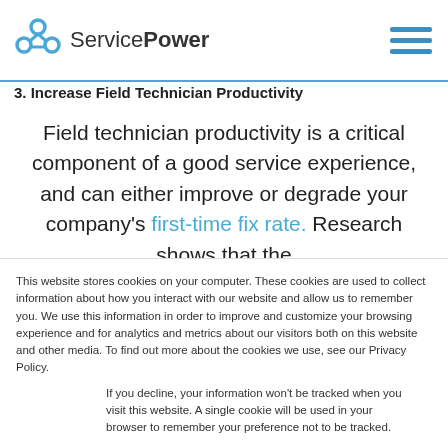ServicePower
3. Increase Field Technician Productivity
Field technician productivity is a critical component of a good service experience, and can either improve or degrade your company's first-time fix rate. Research shows that the
This website stores cookies on your computer. These cookies are used to collect information about how you interact with our website and allow us to remember you. We use this information in order to improve and customize your browsing experience and for analytics and metrics about our visitors both on this website and other media. To find out more about the cookies we use, see our Privacy Policy.
If you decline, your information won't be tracked when you visit this website. A single cookie will be used in your browser to remember your preference not to be tracked.